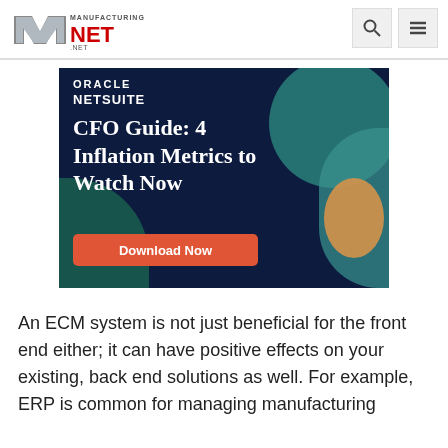Manufacturing.net
[Figure (advertisement): Oracle NetSuite advertisement banner with dark navy background, teal and gold decorative shapes. Text reads: ORACLE NETSUITE - CFO Guide: 4 Inflation Metrics to Watch Now. Red button: Download Now]
An ECM system is not just beneficial for the front end either; it can have positive effects on your existing, back end solutions as well. For example, ERP is common for managing manufacturing